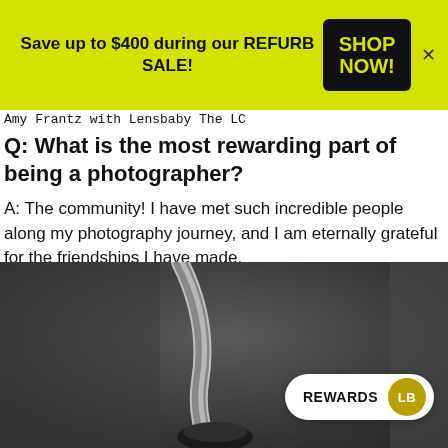[Figure (infographic): Yellow promotional banner with text 'Save up to $400 during our REFURB SALE!' and a black 'SHOP NOW!' button, plus a close (×) icon]
Amy Frantz with Lensbaby The LC
Q: What is the most rewarding part of being a photographer?
A: The community! I have met such incredible people along my photography journey, and I am eternally grateful for the friendships I have made.
[Figure (photo): Black and white close-up photograph of a curved metallic camera lens or accessory component]